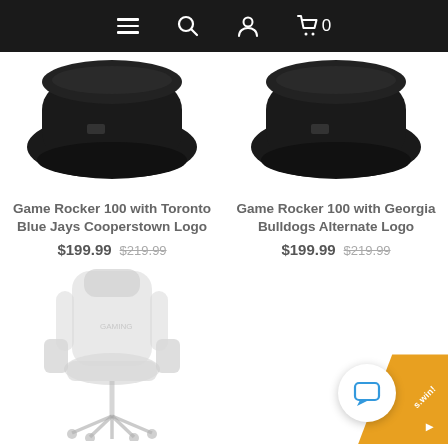Navigation bar with menu, search, profile, and cart (0 items)
[Figure (photo): Black Game Rocker 100 gaming chair seat, top view angled, left product]
Game Rocker 100 with Toronto Blue Jays Cooperstown Logo
$199.99  $219.99
[Figure (photo): Black Game Rocker 100 gaming chair seat, top view angled, right product]
Game Rocker 100 with Georgia Bulldogs Alternate Logo
$199.99  $219.99
[Figure (photo): White/grey gaming chair with armrests and wheels, faded/light appearance, third product partially visible at bottom left]